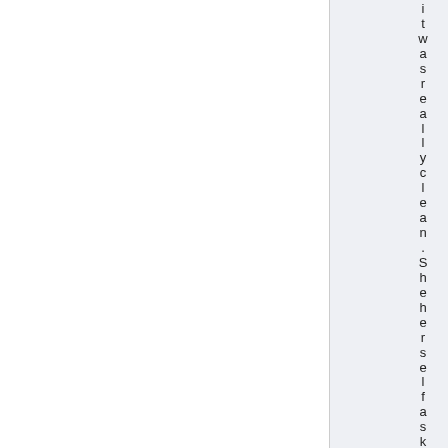it was really clean. She herself asked f